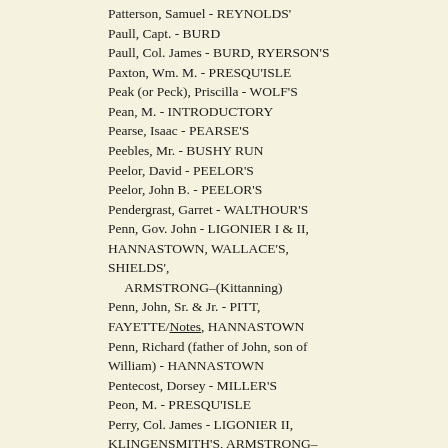Patterson, Samuel - REYNOLDS'
Paull, Capt. - BURD
Paull, Col. James - BURD, RYERSON'S
Paxton, Wm. M. - PRESQU'ISLE
Peak (or Peck), Priscilla - WOLF'S
Pean, M. - INTRODUCTORY
Pearse, Isaac - PEARSE'S
Peebles, Mr. - BUSHY RUN
Peelor, David - PEELOR'S
Peelor, John B. - PEELOR'S
Pendergrast, Garret - WALTHOUR'S
Penn, Gov. John - LIGONIER I & II, HANNASTOWN, WALLACE'S, SHIELDS', ARMSTRONG–(Kittanning)
Penn, John, Sr. & Jr. - PITT, FAYETTE/Notes, HANNASTOWN
Penn, Richard (father of John, son of William) - HANNASTOWN
Pentecost, Dorsey - MILLER'S
Peon, M. - PRESQU'ISLE
Perry, Col. James - LIGONIER II, KLINGENSMITH'S, ARMSTRONG–(Kittanning)